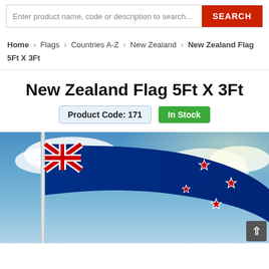Enter product name, code or description to search... SEARCH
Home > Flags > Countries A-Z > New Zealand > New Zealand Flag 5Ft X 3Ft
New Zealand Flag 5Ft X 3Ft
Product Code: 171 | In Stock
[Figure (photo): New Zealand flag waving on a flagpole against a blue sky with clouds]